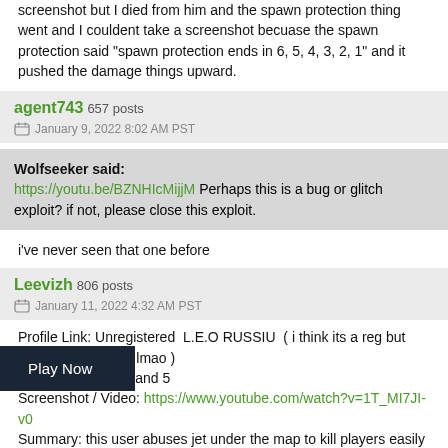screenshot but I died from him and the spawn protection thing went and I couldent take a screenshot becuase the spawn protection said "spawn protection ends in 6, 5, 4, 3, 2, 1" and it pushed the damage things upward.
agent743  657 posts
January 9, 2022 8:02 AM PST
Wolfseeker said:
https://youtu.be/BZNHIcMijjM Perhaps this is a bug or glitch exploit? if not, please close this exploit.
i've never seen that one before
Leevizh  806 posts
January 11, 2022 4:32 AM PST
Profile Link: Unregistered  L.E.O RUSSIU  ( i think its a reg but going guest to troll lmao )
Map Name: The island 5
Screenshot / Video: https://www.youtube.com/watch?v=1T_MI7JI-v0
Summary: this user abuses jet under the map to kill players easily and when players can't see or hit him. it looks unfair, i know this isn't a hacxk but its a bug/exploit abuse which is annoying lol.
Play Now